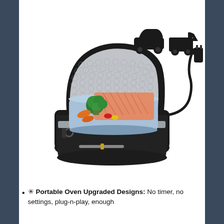[Figure (photo): Product photo of a portable electric lunch box/food warmer. The black insulated bag is open showing a silver reflective interior and a light blue container filled with salmon, broccoli, carrots and vegetables. To the upper right are silhouette icons of a car and a delivery truck, and a power cord with a 12V car cigarette lighter plug.]
✪ Portable Oven Upgraded Designs: No timer, no settings, plug-n-play, enough